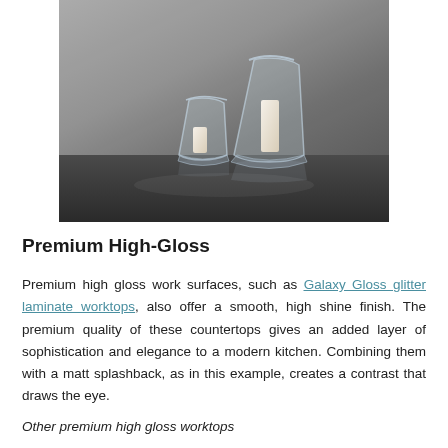[Figure (photo): Two glass hurricane candle holders with white candles inside, placed on a dark glossy countertop against a grey stone wall background.]
Premium High-Gloss
Premium high gloss work surfaces, such as Galaxy Gloss glitter laminate worktops, also offer a smooth, high shine finish. The premium quality of these countertops gives an added layer of sophistication and elegance to a modern kitchen. Combining them with a matt splashback, as in this example, creates a contrast that draws the eye.
Other premium high gloss worktops